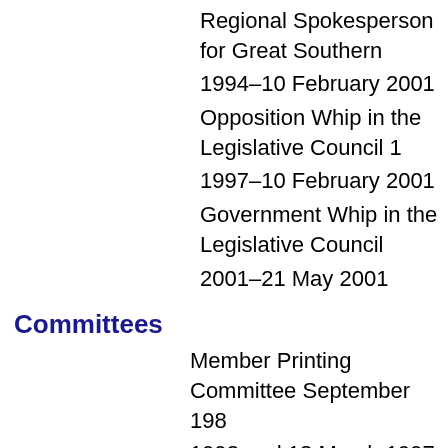Regional Spokesperson for Great Southern 1994–10 February 2001
Opposition Whip in the Legislative Council 1997–10 February 2001
Government Whip in the Legislative Council 2001–21 May 2001
Committees
Member Printing Committee September 1993 and 18 March 1997–10 June 1998
Member Estimates and Financial Operations July 1990–21 March 2000
Member Joint Select Committee on the Cons December 1989–24 October 1991